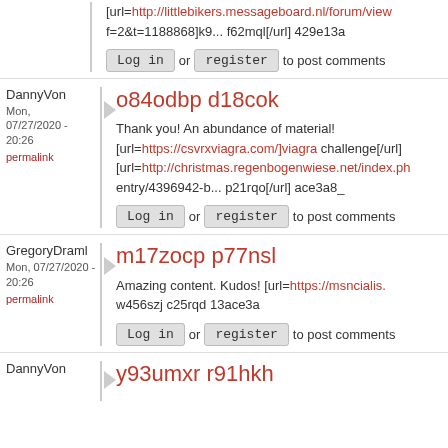[url=http://littlebikers.messageboard.nl/forum/view f=2&t=1188868]k9... f62mql[/url] 429e13a
Log in or register to post comments
DannyVon
Mon, 07/27/2020 - 20:26
permalink
o84odbp d18cok
Thank you! An abundance of material! [url=https://csvrxviagra.com/]viagra challenge[/url] [url=http://christmas.regenbogenwiese.net/index.ph entry/4396942-b... p21rqo[/url] ace3a8_
Log in or register to post comments
GregoryDraml
Mon, 07/27/2020 - 20:26
permalink
m17zocp p77nsl
Amazing content. Kudos! [url=https://msncialis. w456szj c25rqd 13ace3a
Log in or register to post comments
DannyVon
y93umxr r91hkh